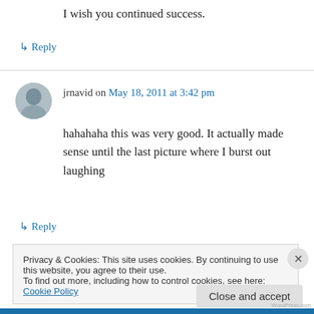I wish you continued success.
↳ Reply
jrnavid on May 18, 2011 at 3:42 pm
hahahaha this was very good. It actually made sense until the last picture where I burst out laughing
↳ Reply
Privacy & Cookies: This site uses cookies. By continuing to use this website, you agree to their use.
To find out more, including how to control cookies, see here: Cookie Policy
Close and accept